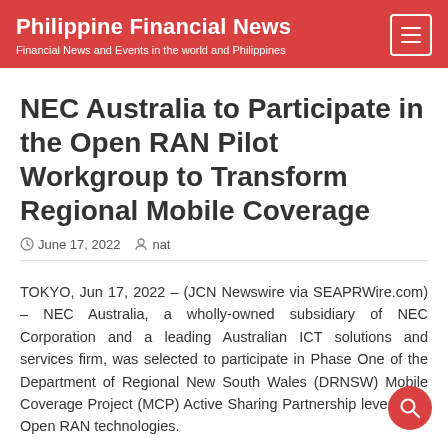Philippine Financial News
Financial News and Events in the world and Philippines
NEC Australia to Participate in the Open RAN Pilot Workgroup to Transform Regional Mobile Coverage
June 17, 2022  nat
TOKYO, Jun 17, 2022 – (JCN Newswire via SEAPRWire.com) – NEC Australia, a wholly-owned subsidiary of NEC Corporation and a leading Australian ICT solutions and services firm, was selected to participate in Phase One of the Department of Regional New South Wales (DRNSW) Mobile Coverage Project (MCP) Active Sharing Partnership leveraging Open RAN technologies.
The NSW Government's Active Sharing Partnership aims to